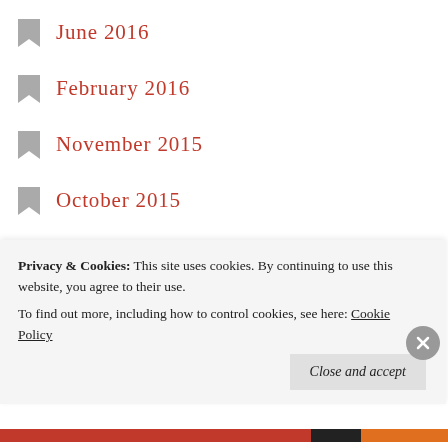June 2016
February 2016
November 2015
October 2015
September 2015
August 2015
July 2015
June 2015
May 2015
April 2015
March 2015
October 2014
July 2014
Privacy & Cookies: This site uses cookies. By continuing to use this website, you agree to their use. To find out more, including how to control cookies, see here: Cookie Policy